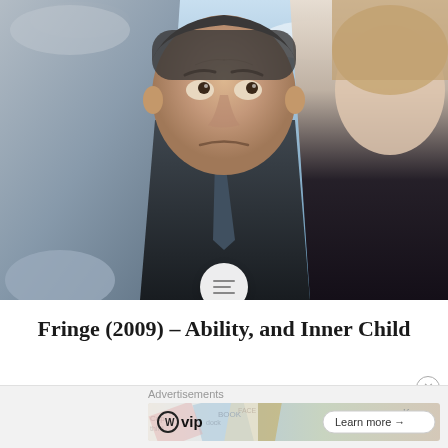[Figure (photo): Promotional photo from the TV show Fringe (2009) showing three people — a young man on the left in a grey shirt, an older man in the center wearing a suit and tie looking up with an intense expression, and a woman on the right in dark clothing — all looking upward against a light blue sky background.]
Fringe (2009) – Ability, and Inner Child
Advertisements
[Figure (screenshot): Advertisement banner featuring WordPress VIP logo on left, a colorful background with social media imagery in center, and a 'Learn more →' button on the right.]